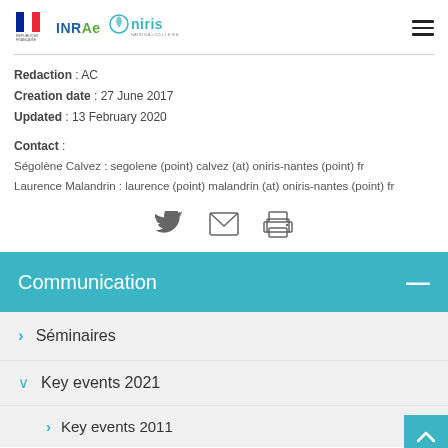REPUBLIQUE FRANÇAISE | INRAE | Oniris
Redaction : AC
Creation date : 27 June 2017
Updated : 13 February 2020

Contact :
Ségolène Calvez : segolene (point) calvez (at) oniris-nantes (point) fr
Laurence Malandrin : laurence (point) malandrin (at) oniris-nantes (point) fr
[Figure (illustration): Social sharing and print icons: Twitter bird, envelope/email, printer]
Communication
Séminaires
Key events 2021
Key events 2011